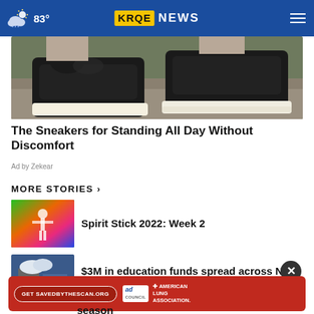83° KRQE NEWS
[Figure (photo): Close-up of black sneakers on someone's feet outdoors on a rocky surface]
The Sneakers for Standing All Day Without Discomfort
Ad by Zekear
MORE STORIES ›
Spirit Stick 2022: Week 2
$3M in education funds spread across New Mexico
[Figure (photo): Ad banner: Get SAVEDBYTHESCAN.ORG - American Lung Association]